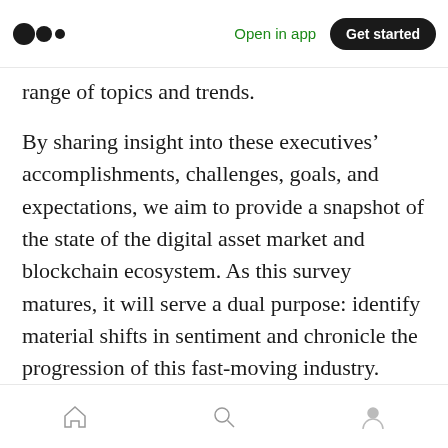Medium app header with logo, 'Open in app', and 'Get started' button
range of topics and trends.
By sharing insight into these executives' accomplishments, challenges, goals, and expectations, we aim to provide a snapshot of the state of the digital asset market and blockchain ecosystem. As this survey matures, it will serve a dual purpose: identify material shifts in sentiment and chronicle the progression of this fast-moving industry.
One prominent theme across our findings is that the next wave of blockchain adoption and
Bottom navigation bar with home, search, and profile icons